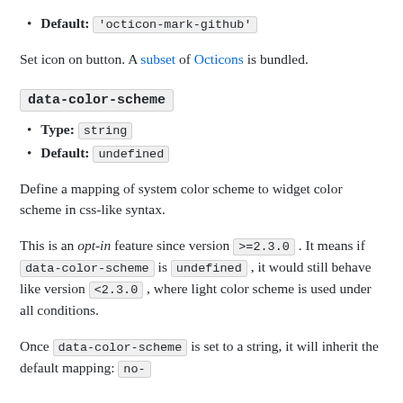Default: 'octicon-mark-github'
Set icon on button. A subset of Octicons is bundled.
data-color-scheme
Type: string
Default: undefined
Define a mapping of system color scheme to widget color scheme in css-like syntax.
This is an opt-in feature since version >=2.3.0 . It means if data-color-scheme is undefined , it would still behave like version <2.3.0 , where light color scheme is used under all conditions.
Once data-color-scheme is set to a string, it will inherit the default mapping: no-